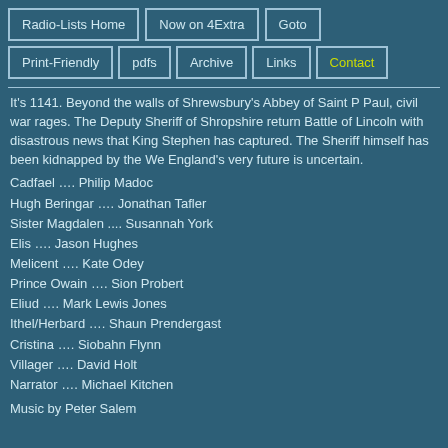Radio-Lists Home | Now on 4Extra | Goto | Print-Friendly | pdfs | Archive | Links | Contact
It's 1141. Beyond the walls of Shrewsbury's Abbey of Saint Peter and Paul, civil war rages. The Deputy Sheriff of Shropshire returns from the Battle of Lincoln with disastrous news that King Stephen has been captured. The Sheriff himself has been kidnapped by the Welsh, and England's very future is uncertain.
Cadfael .... Philip Madoc
Hugh Beringar .... Jonathan Tafler
Sister Magdalen .... Susannah York
Elis .... Jason Hughes
Melicent .... Kate Odey
Prince Owain .... Sion Probert
Eliud .... Mark Lewis Jones
Ithel/Herbard .... Shaun Prendergast
Cristina .... Siobahn Flynn
Villager .... David Holt
Narrator .... Michael Kitchen
Music by Peter Salem